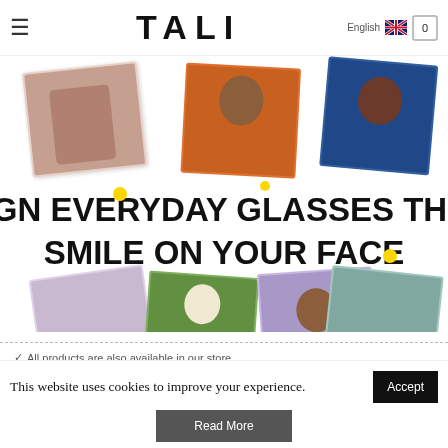TALI — English navigation bar with hamburger menu and cart
[Figure (photo): Hero banner for TALI eyewear brand: collage of lifestyle photos of people wearing glasses/sunglasses arranged around bold text 'WE DESIGN EVERYDAY GLASSES THAT PUT A SMILE ON YOUR FACE', with yellow dot accents on white background]
✓ All products are also available in our store
✓ 14-day return policy
This website uses cookies to improve your experience.
Accept
Read More